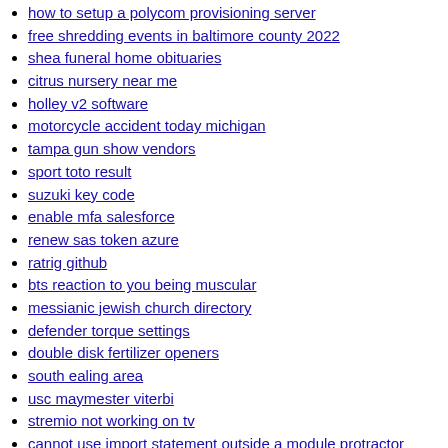how to setup a polycom provisioning server
free shredding events in baltimore county 2022
shea funeral home obituaries
citrus nursery near me
holley v2 software
motorcycle accident today michigan
tampa gun show vendors
sport toto result
suzuki key code
enable mfa salesforce
renew sas token azure
ratrig github
bts reaction to you being muscular
messianic jewish church directory
defender torque settings
double disk fertilizer openers
south ealing area
usc maymester viterbi
stremio not working on tv
cannot use import statement outside a module protractor
lg mini split error codes
e scooters for sale
marriage seminar for married couples
failed calling webhook admission webhook openebs io
combat level calculator rs3